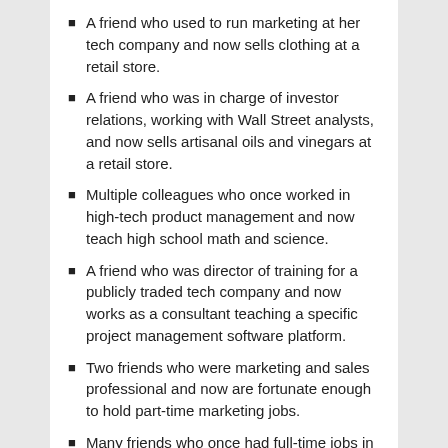A friend who used to run marketing at her tech company and now sells clothing at a retail store.
A friend who was in charge of investor relations, working with Wall Street analysts, and now sells artisanal oils and vinegars at a retail store.
Multiple colleagues who once worked in high-tech product management and now teach high school math and science.
A friend who was director of training for a publicly traded tech company and now works as a consultant teaching a specific project management software platform.
Two friends who were marketing and sales professional and now are fortunate enough to hold part-time marketing jobs.
Many friends who once had full-time jobs in major corporations and now have their own “consulting” companies—which means struggling to find part-time work—in their area of expertise.
One contact who ran trade shows for a tech